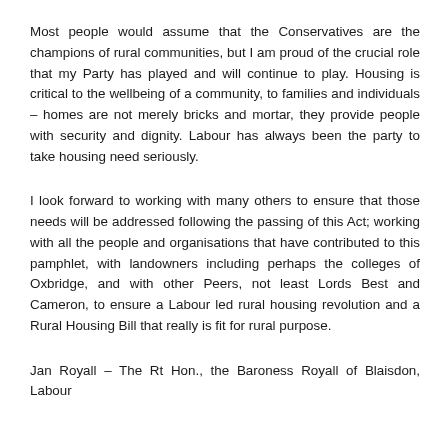Most people would assume that the Conservatives are the champions of rural communities, but I am proud of the crucial role that my Party has played and will continue to play. Housing is critical to the wellbeing of a community, to families and individuals – homes are not merely bricks and mortar, they provide people with security and dignity. Labour has always been the party to take housing need seriously.
I look forward to working with many others to ensure that those needs will be addressed following the passing of this Act; working with all the people and organisations that have contributed to this pamphlet, with landowners including perhaps the colleges of Oxbridge, and with other Peers, not least Lords Best and Cameron, to ensure a Labour led rural housing revolution and a Rural Housing Bill that really is fit for rural purpose.
Jan Royall – The Rt Hon., the Baroness Royall of Blaisdon, Labour